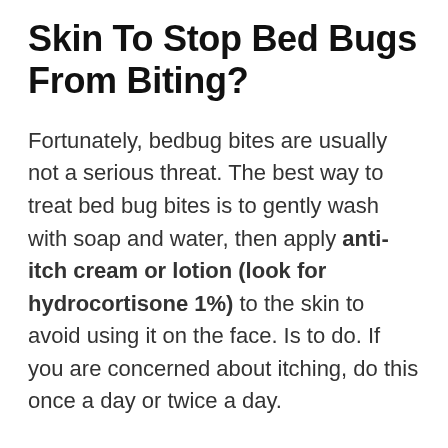Skin To Stop Bed Bugs From Biting?
Fortunately, bedbug bites are usually not a serious threat. The best way to treat bed bug bites is to gently wash with soap and water, then apply anti-itch cream or lotion (look for hydrocortisone 1%) to the skin to avoid using it on the face. Is to do. If you are concerned about itching, do this once a day or twice a day.
Can Bed Bugs Get Through